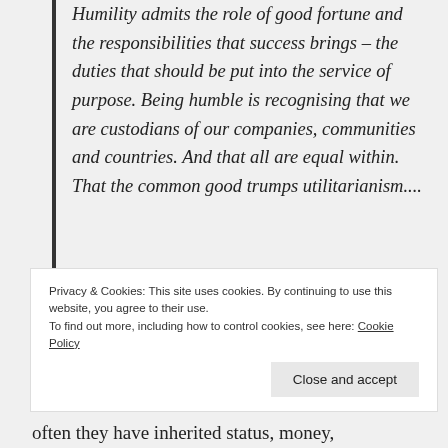Humility admits the role of good fortune and the responsibilities that success brings – the duties that should be put into the service of purpose. Being humble is recognising that we are custodians of our companies, communities and countries. And that all are equal within. That the common good trumps utilitarianism....
Humility is the theme also in The Tyranny of Merit: What's Become of the Common Good? by Michael J.
Privacy & Cookies: This site uses cookies. By continuing to use this website, you agree to their use. To find out more, including how to control cookies, see here: Cookie Policy
often they have inherited status, money,